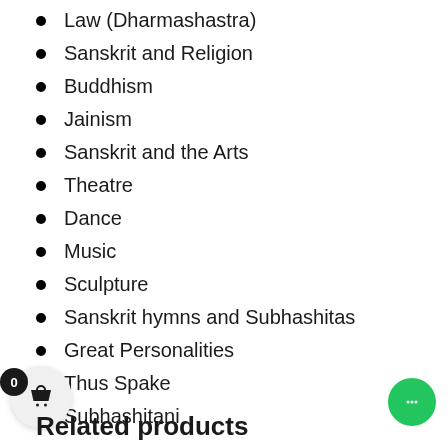Law (Dharmashastra)
Sanskrit and Religion
Buddhism
Jainism
Sanskrit and the Arts
Theatre
Dance
Music
Sculpture
Sanskrit hymns and Subhashitas
Great Personalities
Thus Spake
Subhashitani
Related products